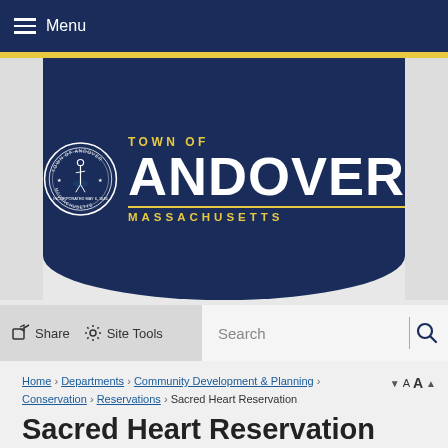Menu
[Figure (logo): Town of Andover Massachusetts official seal and wordmark logo on dark navy background]
Share  Site Tools  Search
Home › Departments › Community Development & Planning › Conservation › Reservations › Sacred Heart Reservation
Sacred Heart Reservation